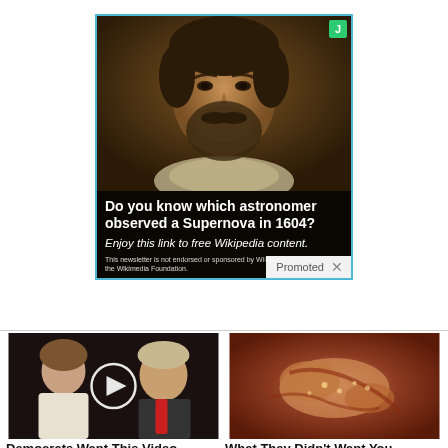[Figure (screenshot): Advertisement featuring a portrait of a historical figure (astronomer) with overlay text asking 'Do you know which astronomer observed a Supernova in 1604?' and italic subtitle 'Enjoy this link to free Wikipedia content.' Small green J badge in top-right corner. Promoted label with X button at bottom-right.]
[Figure (photo): Thumbnail image of a man and woman (appears to be a political figure and companion), with a video play button overlay circle in the center.]
Democrats Want This Video Destroyed — Watch Now Before It's Banned
🔥 243,221
[Figure (photo): Close-up medical/biological image showing what appears to be an organ or anatomical structure, related to Metformin article.]
What They Didn't Want You Knowing About Metformin
🔥 218,304